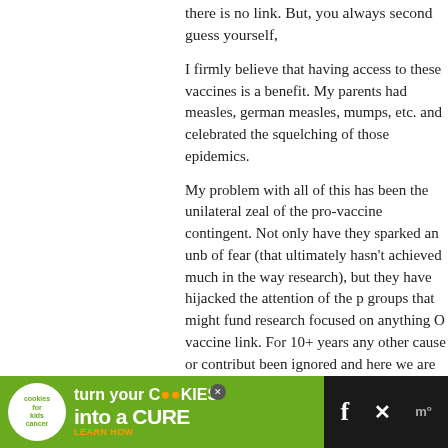there is no link. But, you always second guess yourself,
I firmly believe that having access to these vaccines is a [benefit]. My parents had measles, german measles, mumps, etc. and we celebrated the squelching of those epidemics.
My problem with all of this has been the unilateral zeal of the pro-vaccine contingent. Not only have they sparked an unbelievable amount of fear (that ultimately hasn't achieved much in the way of meaningful research), but they have hijacked the attention of the pharmaceutical groups that might fund research focused on anything OTHER than an autism-vaccine link. For 10+ years any other cause or contributing factor has been ignored and here we are back at square one. Than
Delay shots? Sure! If I have another child, I will certainly discuss a different schedule with my pediatrician. But not vaccinate AT ALL? Nope. Can't get there.
> Reply
Cameron says:
FEBRUARY 7TH, 2010 AT 9:08 PM
[Figure (other): Advertisement banner for 'Cookies for Kids Cancer' - green background with cookie logo, text 'turn your COOKIES into a CURE LEARN HOW' with social media icons on dark background]